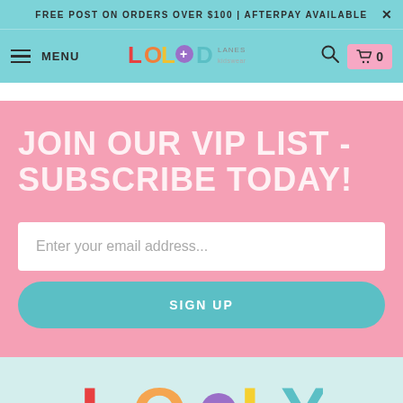FREE POST ON ORDERS OVER $100 | AFTERPAY AVAILABLE
[Figure (logo): LollyGod Lanes Kidswear logo in navigation bar with menu, search, and cart icons]
JOIN OUR VIP LIST - SUBSCRIBE TODAY!
Enter your email address...
SIGN UP
[Figure (logo): LOLLY colorful letter logo in light blue footer section]